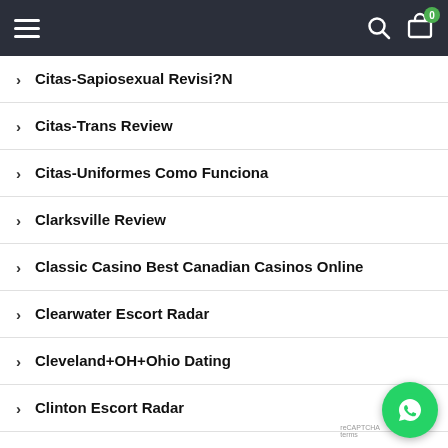Navigation header with hamburger menu, search icon, and cart with badge 0
Citas-Sapiosexual Revisi?N
Citas-Trans Review
Citas-Uniformes Como Funciona
Clarksville Review
Classic Casino Best Canadian Casinos Online
Clearwater Escort Radar
Cleveland+OH+Ohio Dating
Clinton Escort Radar
Clinton Escort Sites
[Figure (illustration): WhatsApp floating button (green circle with phone icon) in bottom-right corner]